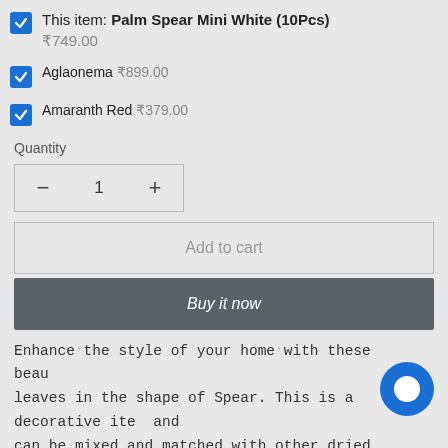This item: Palm Spear Mini White (10Pcs) ₹749.00
Aglaonema ₹899.00
Amaranth Red ₹379.00
Quantity
− 1 +
Add to cart
Buy it now
Enhance the style of your home with these beautiful leaves in the shape of Spear. This is a decorative item and can be mixed and matched with other dried flowers to